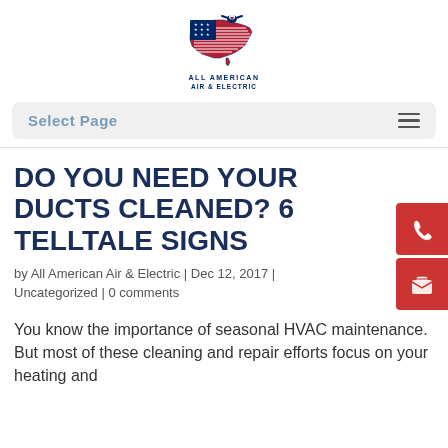[Figure (logo): All American Air & Electric logo — USA map shape with stars and stripes, eagle on top, text below reading ALL AMERICAN AIR & ELECTRIC]
Select Page
DO YOU NEED YOUR DUCTS CLEANED? 6 TELLTALE SIGNS
by All American Air & Electric | Dec 12, 2017 |
Uncategorized | 0 comments
You know the importance of seasonal HVAC maintenance. But most of these cleaning and repair efforts focus on your heating and